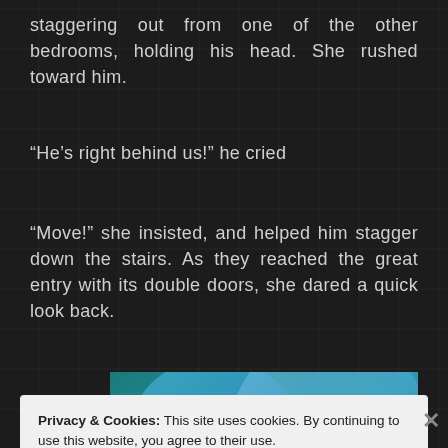staggering out from one of the other bedrooms, holding his head. She rushed toward him.
“He’s right behind us!” he cried
“Move!” she insisted, and helped him stagger down the stairs. As they reached the great entry with its double doors, she dared a quick look back.
[Figure (illustration): Abstract blue gradient illustration with overlapping circular shapes in teal and blue tones]
Privacy & Cookies: This site uses cookies. By continuing to use this website, you agree to their use.
To find out more, including how to control cookies, see here: Cookie Policy
Close and accept